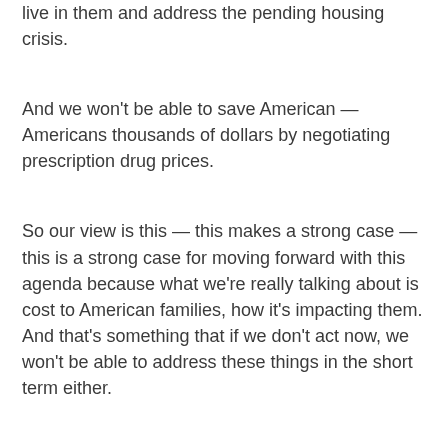live in them and address the pending housing crisis.
And we won't be able to save American — Americans thousands of dollars by negotiating prescription drug prices.
So our view is this — this makes a strong case — this is a strong case for moving forward with this agenda because what we're really talking about is cost to American families, how it's impacting them. And that's something that if we don't act now, we won't be able to address these things in the short term either.
Go ahead.